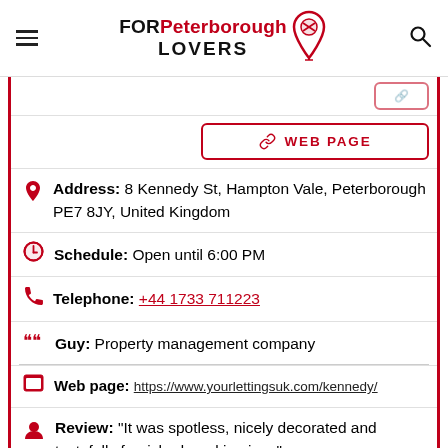FOR Peterborough LOVERS
WEB PAGE
Address: 8 Kennedy St, Hampton Vale, Peterborough PE7 8JY, United Kingdom
Schedule: Open until 6:00 PM
Telephone: +44 1733 711223
Guy: Property management company
Web page: https://www.yourlettingsuk.com/kennedy/
Review: "It was spotless, nicely decorated and tastefully furnished, parking is ..."
There are no offers available.
Near Kennedy House | Peterborough Contractor /